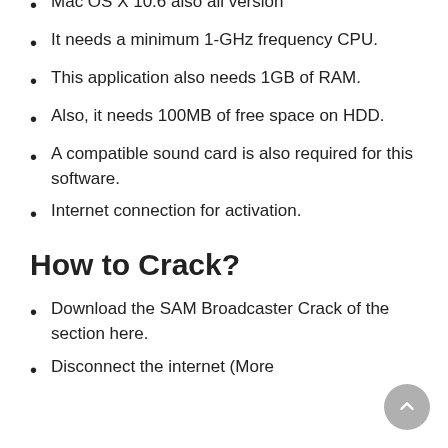Mac OS X 10.6 also all version
It needs a minimum 1-GHz frequency CPU.
This application also needs 1GB of RAM.
Also, it needs 100MB of free space on HDD.
A compatible sound card is also required for this software.
Internet connection for activation.
How to Crack?
Download the SAM Broadcaster Crack of the section here.
Disconnect the internet (More